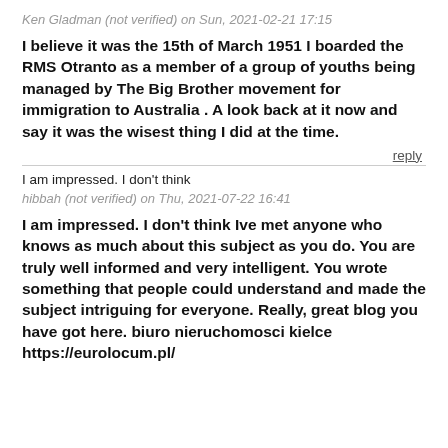Ken Gladman (not verified) on Sun, 2021-02-21 17:15
I believe it was the 15th of March 1951 I boarded the RMS Otranto as a member of a group of youths being managed by The Big Brother movement for immigration to Australia . A look back at it now and say it was the wisest thing I did at the time.
reply
I am impressed. I don't think
hibbah (not verified) on Thu, 2021-07-22 16:41
I am impressed. I don't think Ive met anyone who knows as much about this subject as you do. You are truly well informed and very intelligent. You wrote something that people could understand and made the subject intriguing for everyone. Really, great blog you have got here. biuro nieruchomosci kielce https://eurolocum.pl/